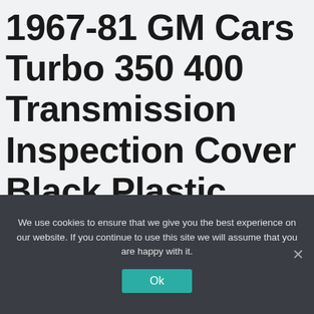1967-81 GM Cars Turbo 350 400 Transmission Inspection Cover Black Plastic
Automotive
We use cookies to ensure that we give you the best experience on our website. If you continue to use this site we will assume that you are happy with it.